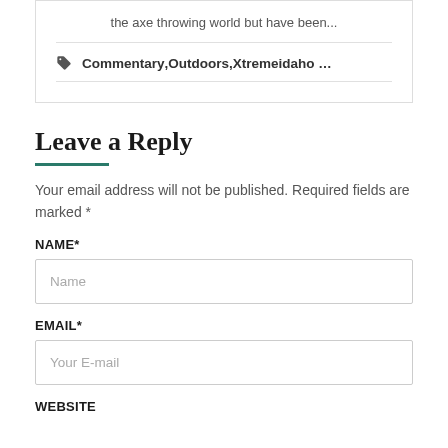the axe throwing world but have been...
Commentary, Outdoors, Xtremeidaho ...
Leave a Reply
Your email address will not be published. Required fields are marked *
NAME*
Name
EMAIL*
Your E-mail
WEBSITE